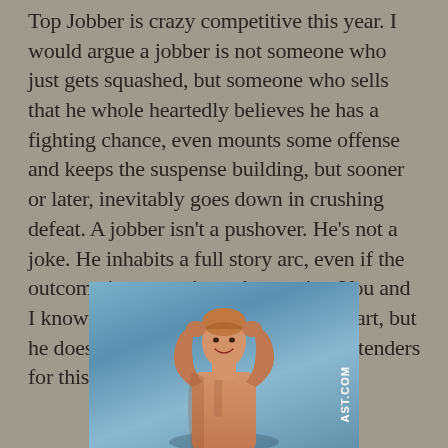Top Jobber is crazy competitive this year. I would argue a jobber is not someone who just gets squashed, but someone who sells that he whole heartedly believes he has a fighting chance, even mounts some offense and keeps the suspense building, but sooner or later, inevitably goes down in crushing defeat. A jobber isn't a pushover. He's not a joke. He inhabits a full story arc, even if the outcome is as certain as the sunrise. You and I know a jobber is doomed from the start, but he doesn't. Let's take a look at the contenders for this nuanced category.
[Figure (photo): A smiling shirtless young man with reddish-brown hair, hands clasped behind his head, photographed against a blue-gray background. Watermark text 'AST.COM' visible vertically on the right side.]